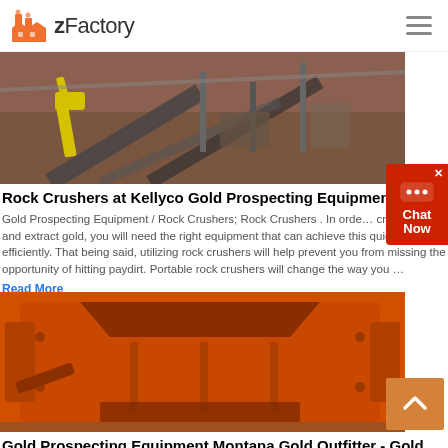zFactory
[Figure (photo): Aerial view of rock crushing and mining equipment with yellow excavator and conveyor belts at a quarry site]
Rock Crushers at Kellyco Gold Prospecting Equipment
Gold Prospecting Equipment / Rock Crushers; Rock Crushers . In order to crush rocks and extract gold, you will need the right equipment that can achieve this quickly and efficiently. That being said, utilizing rock crushers will help prevent you from missing the opportunity of hitting paydirt. Portable rock crushers will change the way you ...
Read More
[Figure (photo): Large orange industrial rock crusher / impact crusher machine photographed close up outdoors]
Gold Prospecting Equipment Montana Gold Outfitter - Gold ...